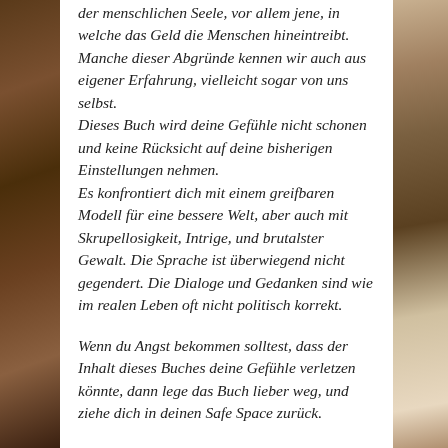[Figure (photo): Left side: dark brown forest floor with leaves and branches, autumnal outdoor background.]
[Figure (photo): Right side: light-toned outdoor background with frost or dried vegetation, autumnal/winter outdoor scene.]
der menschlichen Seele, vor allem jene, in welche das Geld die Menschen hineintreibt. Manche dieser Abgründe kennen wir auch aus eigener Erfahrung, vielleicht sogar von uns selbst.
Dieses Buch wird deine Gefühle nicht schonen und keine Rücksicht auf deine bisherigen Einstellungen nehmen.
Es konfrontiert dich mit einem greifbaren Modell für eine bessere Welt, aber auch mit Skrupellosigkeit, Intrige, und brutalster Gewalt. Die Sprache ist überwiegend nicht gegendert. Die Dialoge und Gedanken sind wie im realen Leben oft nicht politisch korrekt.

Wenn du Angst bekommen solltest, dass der Inhalt dieses Buches deine Gefühle verletzen könnte, dann lege das Buch lieber weg, und ziehe dich in deinen Safe Space zurück.